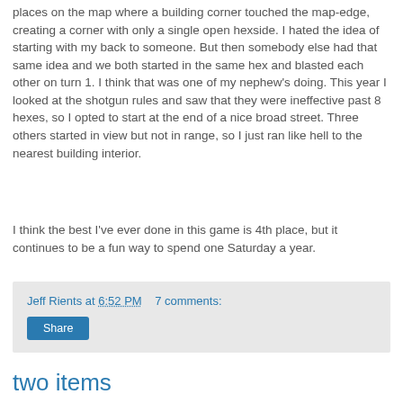places on the map where a building corner touched the map-edge, creating a corner with only a single open hexside. I hated the idea of starting with my back to someone. But then somebody else had that same idea and we both started in the same hex and blasted each other on turn 1. I think that was one of my nephew's doing. This year I looked at the shotgun rules and saw that they were ineffective past 8 hexes, so I opted to start at the end of a nice broad street. Three others started in view but not in range, so I just ran like hell to the nearest building interior.
I think the best I've ever done in this game is 4th place, but it continues to be a fun way to spend one Saturday a year.
Jeff Rients at 6:52 PM  7 comments:
Share
two items